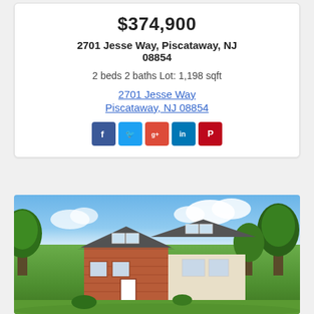$374,900
2701 Jesse Way, Piscataway, NJ 08854
2 beds 2 baths Lot: 1,198 sqft
2701 Jesse Way
Piscataway, NJ 08854
[Figure (other): Social media share icons: Facebook, Twitter, Google+, LinkedIn, Pinterest]
[Figure (photo): Exterior photo of a two-story house with brick lower level and light siding upper level, surrounded by trees and green lawn]